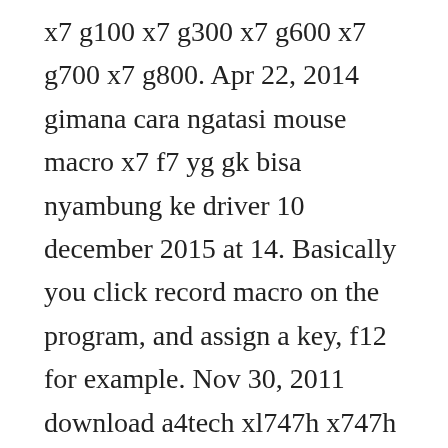x7 g100 x7 g300 x7 g600 x7 g700 x7 g800. Apr 22, 2014 gimana cara ngatasi mouse macro x7 f7 yg gk bisa nyambung ke driver 10 december 2015 at 14. Basically you click record macro on the program, and assign a key, f12 for example. Nov 30, 2011 download a4tech xl747h x747h mouse driver v11. Oscar x7 editor 5 mode by a4tech seperti yang agan bisa lihat pada gambar di atas. A4tech f3 mouse driver a4tech f4 mouse driver a4tech f5 mouse driver f3 f4 f5 a4tech. Bisa download softwarenya yang telah disediakan dibawah